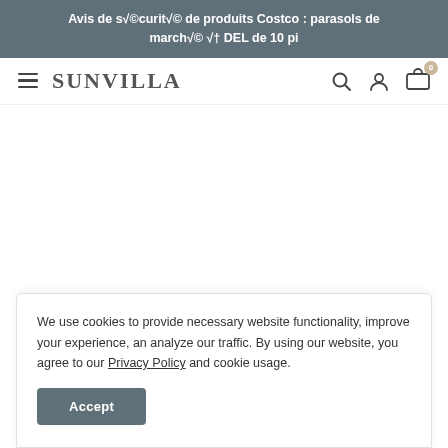Avis de s√©curit√© de produits Costco : parasols de march√© √† DEL de 10 pi
[Figure (logo): Sunvilla brand logo with hamburger menu icon on the left and search, account, cart icons on the right]
We use cookies to provide necessary website functionality, improve your experience, an analyze our traffic. By using our website, you agree to our Privacy Policy and cookie usage.